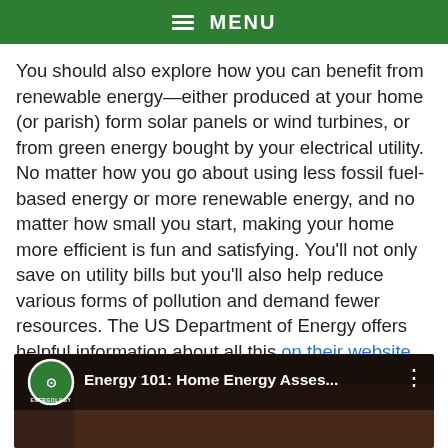MENU
You should also explore how you can benefit from renewable energy—either produced at your home (or parish) form solar panels or wind turbines, or from green energy bought by your electrical utility. No matter how you go about using less fossil fuel-based energy or more renewable energy, and no matter how small you start, making your home more efficient is fun and satisfying. You'll not only save on utility bills but you'll also help reduce various forms of pollution and demand fewer resources. The US Department of Energy offers helpful information about all this on their website and in this video.
[Figure (screenshot): YouTube video thumbnail showing 'Energy 101: Home Energy Asses...' with ENERGOLOGY channel logo on dark background]